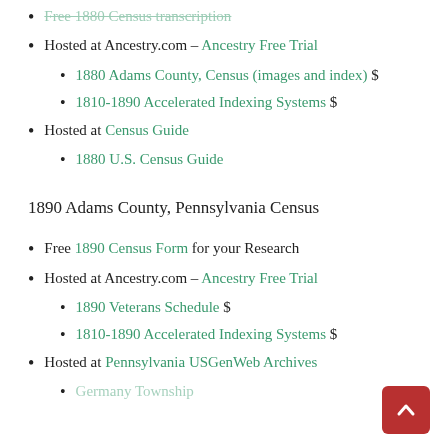Free 1880 Census transcription [strikethrough/link]
Hosted at Ancestry.com – Ancestry Free Trial
1880 Adams County, Census (images and index) $
1810-1890 Accelerated Indexing Systems $
Hosted at Census Guide
1880 U.S. Census Guide
1890 Adams County, Pennsylvania Census
Free 1890 Census Form for your Research
Hosted at Ancestry.com – Ancestry Free Trial
1890 Veterans Schedule $
1810-1890 Accelerated Indexing Systems $
Hosted at Pennsylvania USGenWeb Archives
Germany Township